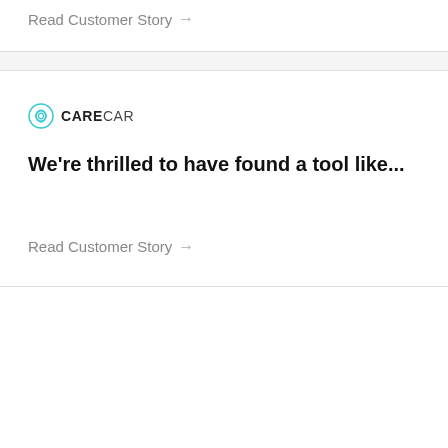Read Customer Story →
[Figure (logo): CareCar logo with teal circular icon and text CARECAR]
We're thrilled to have found a tool like...
Read Customer Story →